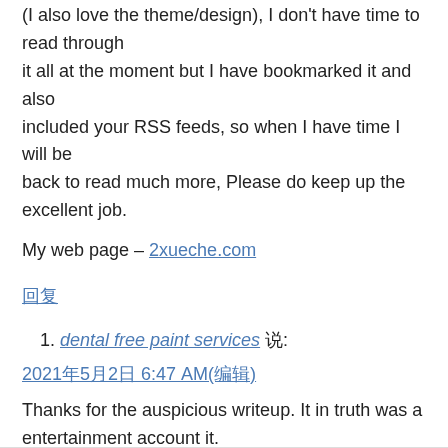(I also love the theme/design), I don't have time to read through
it all at the moment but I have bookmarked it and also included your RSS feeds, so when I have time I will be back to read much more, Please do keep up the excellent job.
My web page – 2xueche.com
回复
dental free paint services 说:
2021年5月2日 6:47 AM(编辑)
Thanks for the auspicious writeup. It in truth was a entertainment account it.